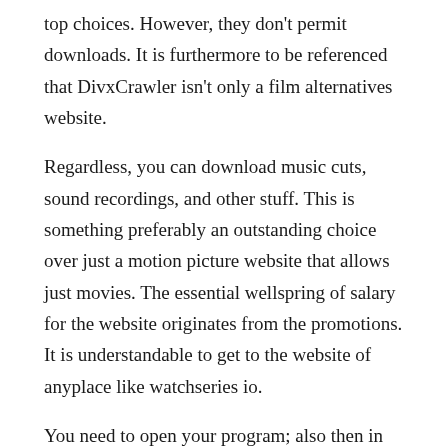top choices. However, they don't permit downloads. It is furthermore to be referenced that DivxCrawler isn't only a film alternatives website.
Regardless, you can download music cuts, sound recordings, and other stuff. This is something preferably an outstanding choice over just a motion picture website that allows just movies. The essential wellspring of salary for the website originates from the promotions. It is understandable to get to the website of anyplace like watchseries io.
You need to open your program; also then in the wake of putting the web interface, the website will give up on the screen. You can do, moreover, after a tap on the ideal video,